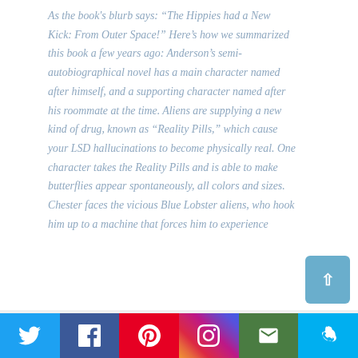As the book's blurb says: "The Hippies had a New Kick: From Outer Space!" Here's how we summarized this book a few years ago: Anderson's semi-autobiographical novel has a main character named after himself, and a supporting character named after his roommate at the time. Aliens are supplying a new kind of drug, known as "Reality Pills," which cause your LSD hallucinations to become physically real. One character takes the Reality Pills and is able to make butterflies appear spontaneously, all colors and sizes. Chester faces the vicious Blue Lobster aliens, who hook him up to a machine that forces him to experience
[Figure (other): Social media sharing bar with Twitter, Facebook, Pinterest, Instagram, Email, and Skype icons]